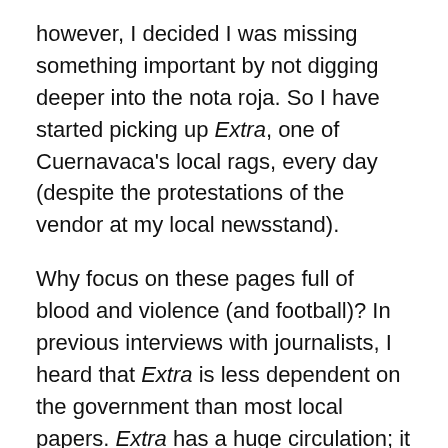however, I decided I was missing something important by not digging deeper into the nota roja. So I have started picking up Extra, one of Cuernavaca's local rags, every day (despite the protestations of the vendor at my local newsstand).
Why focus on these pages full of blood and violence (and football)? In previous interviews with journalists, I heard that Extra is less dependent on the government than most local papers. Extra has a huge circulation; it funds itself. A lot of the other papers depend on government funding through purchase of advertising space and similar, in order to stay in